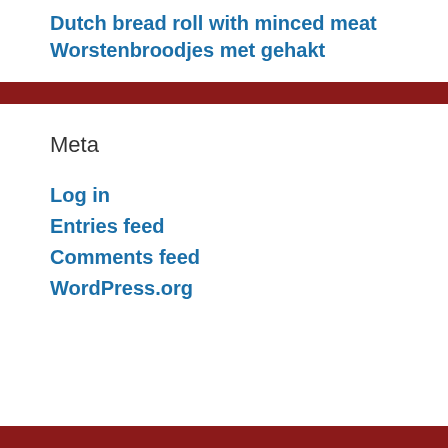Dutch bread roll with minced meat
Worstenbroodjes met gehakt
Meta
Log in
Entries feed
Comments feed
WordPress.org